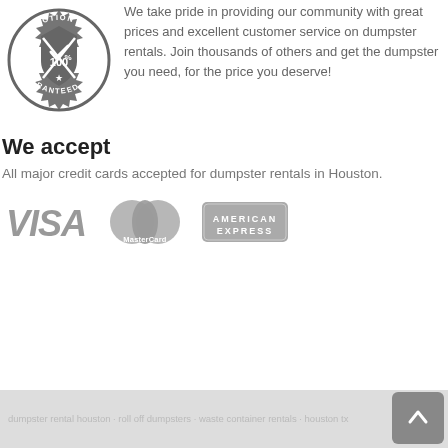[Figure (logo): Satisfaction 100% Guaranteed badge/seal in dark gray]
We take pride in providing our community with great prices and excellent customer service on dumpster rentals. Join thousands of others and get the dumpster you need, for the price you deserve!
We accept
All major credit cards accepted for dumpster rentals in Houston.
[Figure (logo): VISA logo in gray]
[Figure (logo): MasterCard logo in gray]
[Figure (logo): American Express logo in gray]